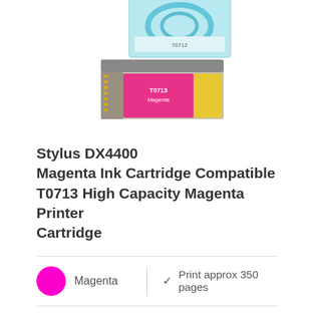[Figure (photo): Photo of a magenta ink cartridge (T0713) with its packaging box, shown at an angle against a white background.]
Stylus DX4400 Magenta Ink Cartridge Compatible T0713 High Capacity Magenta Printer Cartridge
Magenta | ✓ Print approx 350 pages
Our full capacity compatible T0713 magenta ink cartridge is ideal for attention grabbing high-impact printouts.